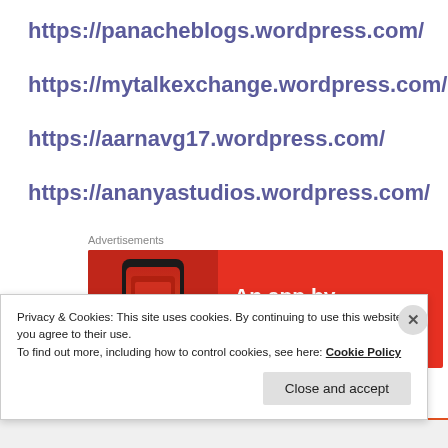https://panacheblogs.wordpress.com/
https://mytalkexchange.wordpress.com/
https://aarnavg17.wordpress.com/
https://ananyastudios.wordpress.com/
Advertisements
[Figure (screenshot): Red advertisement banner showing a smartphone image on the left and text 'An app by listeners, for' on the right in white bold text on a red background.]
Privacy & Cookies: This site uses cookies. By continuing to use this website, you agree to their use.
To find out more, including how to control cookies, see here: Cookie Policy
Close and accept